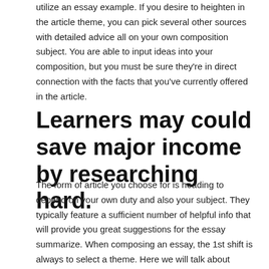utilize an essay example. If you desire to heighten in the article theme, you can pick several other sources with detailed advice all on your own composition subject. You are able to input ideas into your composition, but you must be sure they're in direct connection with the facts that you've currently offered in the article.
Learners may could save major income by researching hard.
The form of article you choose for is heading to depend on your own duty and also your subject. They typically feature a sufficient number of helpful info that will provide you great suggestions for the essay summarize. When composing an essay, the 1st shift is always to select a theme. Here we will talk about about the numerous varieties of publication writing! A very clear comprehension of whether you're composing within the present or inside the past is crucial. There's various etiquette of